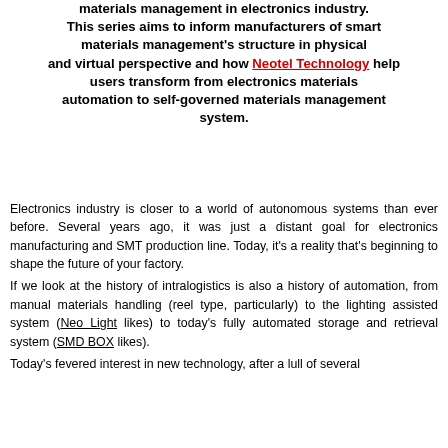materials management in electronics industry. This series aims to inform manufacturers of smart materials management's structure in physical and virtual perspective and how Neotel Technology help users transform from electronics materials automation to self-governed materials management system.
Electronics industry is closer to a world of autonomous systems than ever before. Several years ago, it was just a distant goal for electronics manufacturing and SMT production line. Today, it's a reality that's beginning to shape the future of your factory. If we look at the history of intralogistics is also a history of automation, from manual materials handling (reel type, particularly) to the lighting assisted system (Neo Light likes) to today's fully automated storage and retrieval system (SMD BOX likes). Today's fevered interest in new technology, after a lull of several